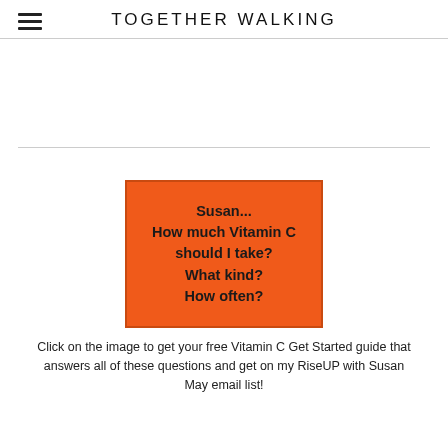TOGETHER WALKING
[Figure (other): Orange promotional image with bold text: Susan... How much Vitamin C should I take? What kind? How often?]
Click on the image to get your free Vitamin C Get Started guide that answers all of these questions and get on my RiseUP with Susan May email list!